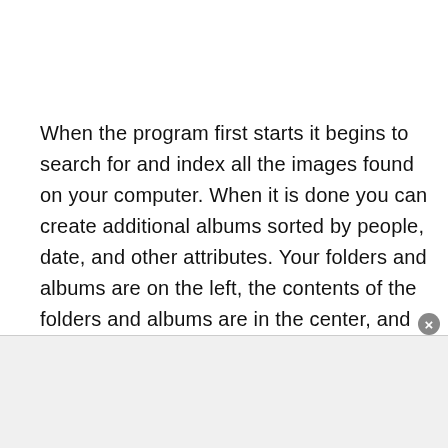When the program first starts it begins to search for and index all the images found on your computer. When it is done you can create additional albums sorted by people, date, and other attributes. Your folders and albums are on the left, the contents of the folders and albums are in the center, and the ability to tag the people in each image is